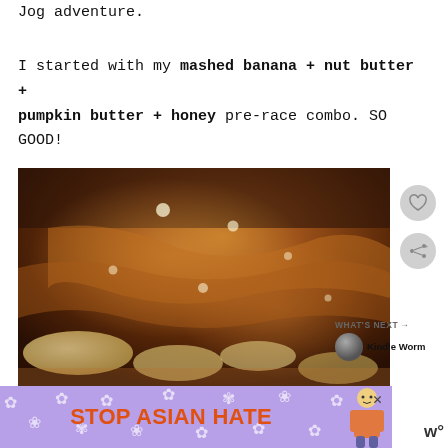Jog adventure.
I started with my mashed banana + nut butter + pumpkin butter + honey pre-race combo. SO GOOD!
[Figure (photo): Close-up photo of mashed banana with nut butter, pumpkin butter and honey spread on toast, showing glossy amber and golden tones with chunks of banana visible]
[Figure (infographic): Ad banner with purple background with white flower patterns, orange text reading 'STOP ASIAN HATE', with a cartoon person figure and a close X button]
WHAT'S NEXT → Kindle Worm